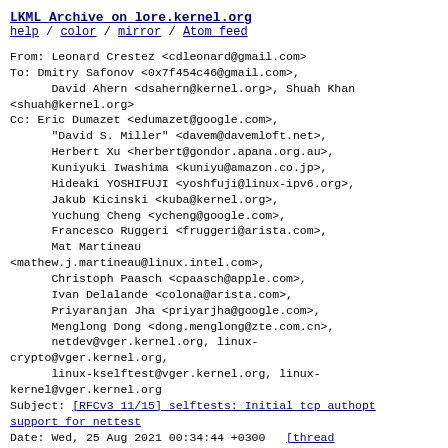LKML Archive on lore.kernel.org
help / color / mirror / Atom feed
From: Leonard Crestez <cdleonard@gmail.com>
To: Dmitry Safonov <0x7f454c46@gmail.com>,
      David Ahern <dsahern@kernel.org>, Shuah Khan
<shuah@kernel.org>
Cc: Eric Dumazet <edumazet@google.com>,
      "David S. Miller" <davem@davemloft.net>,
      Herbert Xu <herbert@gondor.apana.org.au>,
      Kuniyuki Iwashima <kuniyu@amazon.co.jp>,
      Hideaki YOSHIFUJI <yoshfuji@linux-ipv6.org>,
      Jakub Kicinski <kuba@kernel.org>,
      Yuchung Cheng <ycheng@google.com>,
      Francesco Ruggeri <fruggeri@arista.com>,
      Mat Martineau
<mathew.j.martineau@linux.intel.com>,
      Christoph Paasch <cpaasch@apple.com>,
      Ivan Delalande <colona@arista.com>,
      Priyaranjan Jha <priyarjha@google.com>,
      Menglong Dong <dong.menglong@zte.com.cn>,
      netdev@vger.kernel.org, linux-crypto@vger.kernel.org,
      linux-kselftest@vger.kernel.org, linux-kernel@vger.kernel.org
Subject: [RFCv3 11/15] selftests: Initial tcp authopt support for nettest
Date: Wed, 25 Aug 2021 00:34:44 +0300    [thread overview]
Message-ID: